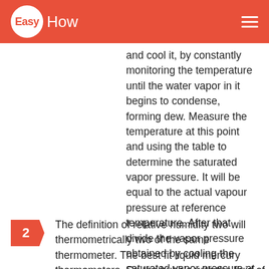EasyHow
and cool it, by constantly monitoring the temperature until the water vapor in it begins to condense, forming dew. Measure the temperature at this point and using the table to determine the saturated vapor pressure. It will be equal to the actual vapour pressure at reference temperature. After that divide the vapor pressure obtained by cooling the saturated vapor pressure at a given temperature, and multiply the result by 100%. The result is relative humidity in percent.
2 The definition of relative humidity two will thermometrically two of the same thermometer. The best fit liquid mercury thermometers. On the bubble with the fluid of one of them wrap the cheesecloth,